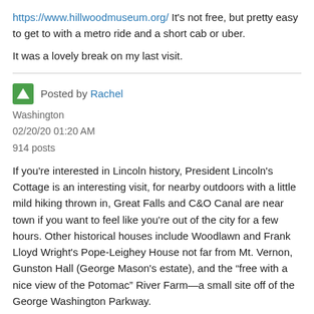https://www.hillwoodmuseum.org/ It's not free, but pretty easy to get to with a metro ride and a short cab or uber.
It was a lovely break on my last visit.
Posted by Rachel
Washington
02/20/20 01:20 AM
914 posts
If you're interested in Lincoln history, President Lincoln's Cottage is an interesting visit, for nearby outdoors with a little mild hiking thrown in, Great Falls and C&O Canal are near town if you want to feel like you're out of the city for a few hours. Other historical houses include Woodlawn and Frank Lloyd Wright's Pope-Leighey House not far from Mt. Vernon, Gunston Hall (George Mason's estate), and the “free with a nice view of the Potomac” River Farm—a small site off of the George Washington Parkway.
Regarding the budget Fairfax suggestion above, you may have